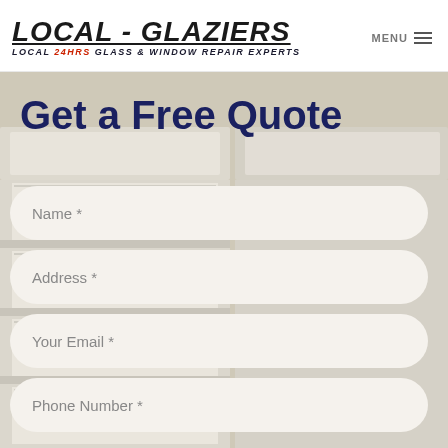LOCAL - GLAZIERS | LOCAL 24HRS GLASS & WINDOW REPAIR EXPERTS
Get a Free Quote
Name *
Address *
Your Email *
Phone Number *